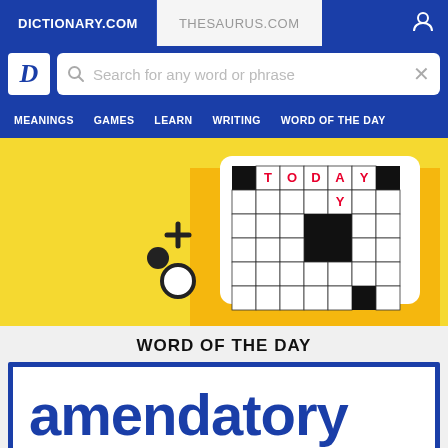DICTIONARY.COM | THESAURUS.COM
[Figure (screenshot): Dictionary.com website screenshot showing navigation bar, search bar with 'Search for any word or phrase', menu items (MEANINGS, GAMES, LEARN, WRITING, WORD OF THE DAY), a crossword puzzle graphic banner with 'TODAY' spelled out on crossword tiles on yellow/orange background with game pieces, and a Word of the Day section showing the word 'amendatory' in bold blue text inside a dark blue bordered card.]
WORD OF THE DAY
amendatory